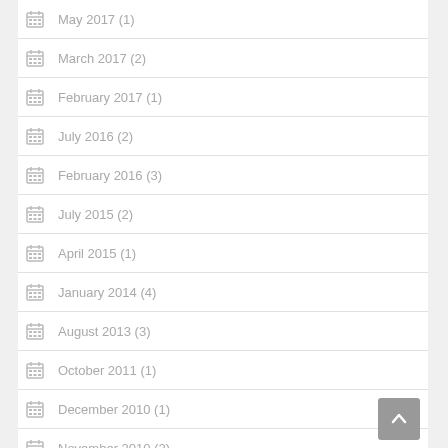May 2017 (1)
March 2017 (2)
February 2017 (1)
July 2016 (2)
February 2016 (3)
July 2015 (2)
April 2015 (1)
January 2014 (4)
August 2013 (3)
October 2011 (1)
December 2010 (1)
November 2010 (2)